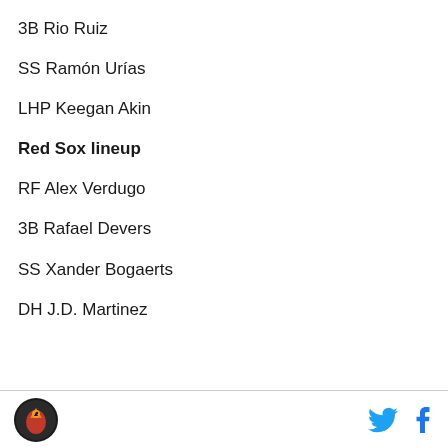3B Rio Ruiz
SS Ramón Urías
LHP Keegan Akin
Red Sox lineup
RF Alex Verdugo
3B Rafael Devers
SS Xander Bogaerts
DH J.D. Martinez